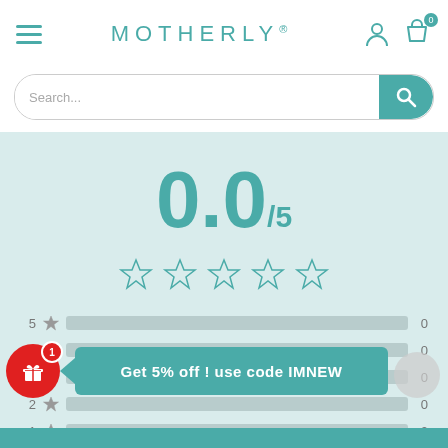MOTHERLY
[Figure (screenshot): Search bar with teal search button and magnifying glass icon]
[Figure (infographic): Rating display showing 0.0/5 with 5 empty stars and rating breakdown bars for 5, 4, 3, 2, 1 stars all showing 0]
[Figure (infographic): Promotional banner with red gift icon badge showing 1, teal arrow, and teal box reading Get 5% off ! use code IMNEW]